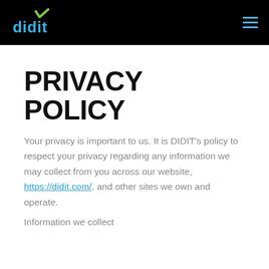didit [logo] [hamburger menu]
PRIVACY POLICY
Your privacy is important to us. It is DIDIT's policy to respect your privacy regarding any information we may collect from you across our website, https://didit.com/, and other sites we own and operate.
Information we collect